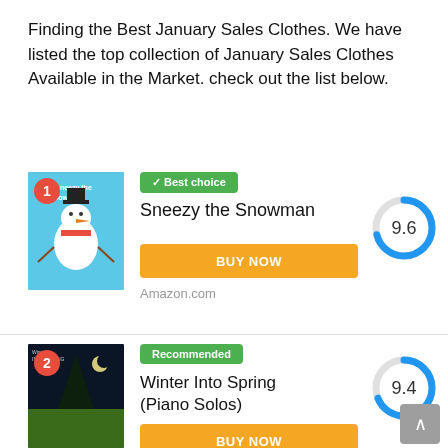Finding the Best January Sales Clothes. We have listed the top collection of January Sales Clothes Available in the Market. check out the list below.
[Figure (other): Product listing card #1: Sneezy the Snowman book cover with rank badge #1, Best choice green badge, score donut 9.6, BUY NOW button, Amazon.com label]
[Figure (other): Product listing card #2: Winter Into Spring (Piano Solos) album cover with rank badge #2, Recommended green badge, score donut 9.4, BUY NOW button]